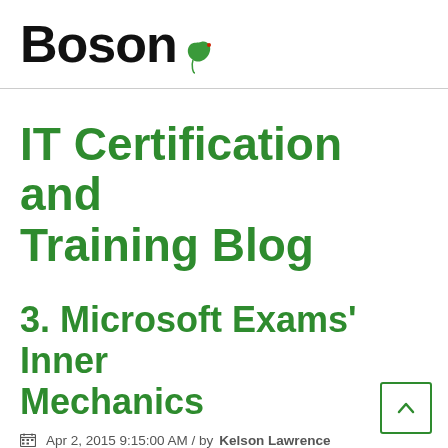Boson
IT Certification and Training Blog
3. Microsoft Exams' Inner Mechanics
Apr 2, 2015 9:15:00 AM / by Kelson Lawrence